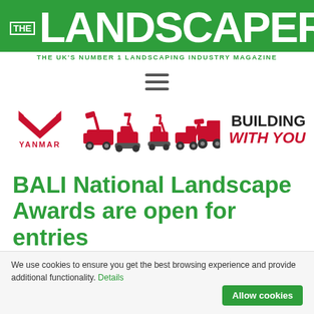[Figure (logo): The Landscaper magazine logo - green banner with large white text 'THE LANDSCAPER' and subtitle 'THE UK'S NUMBER 1 LANDSCAPING INDUSTRY MAGAZINE']
[Figure (other): Hamburger menu icon (three horizontal lines)]
[Figure (logo): Yanmar advertisement banner showing Yanmar logo with red chevron, red construction machines, and text 'BUILDING WITH YOU']
BALI National Landscape Awards are open for entries
We use cookies to ensure you get the best browsing experience and provide additional functionality. Details
Allow cookies